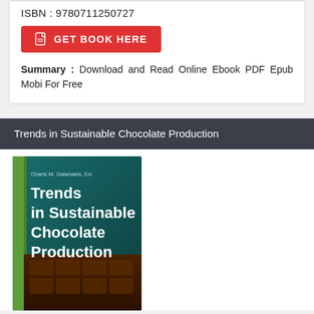ISBN : 9780711250727
[Figure (other): Red button labeled 'GET BOOK HERE' with a PDF file icon]
Summary : Download and Read Online Ebook PDF Epub Mobi For Free
Trends in Sustainable Chocolate Production
[Figure (illustration): Book cover of 'Trends in Sustainable Chocolate Production' edited by Charis M. Galanakis, featuring the title in white text on a teal/dark green background with a chocolate bar image and a green stripe on the left.]